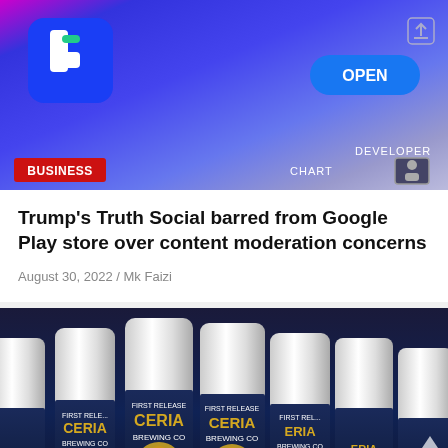[Figure (photo): Screenshot of Google Play Store showing a Facebook-like app with OPEN button, CHART and DEVELOPER labels, share icon. Business category badge in red bottom left.]
Trump's Truth Social barred from Google Play store over content moderation concerns
August 30, 2022 / Mk Faizi
[Figure (photo): Photo of multiple Ceria Brewing Co. bottles with white caps and dark blue labels featuring a golden figure, labeled FIRST RELEASE and ALCOHOLIZED CANNABINOID.]